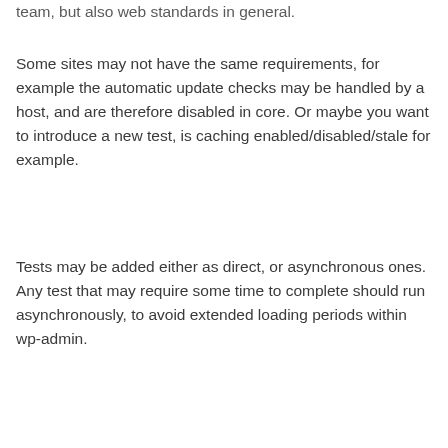team, but also web standards in general.
Some sites may not have the same requirements, for example the automatic update checks may be handled by a host, and are therefore disabled in core. Or maybe you want to introduce a new test, is caching enabled/disabled/stale for example.
Tests may be added either as direct, or asynchronous ones. Any test that may require some time to complete should run asynchronously, to avoid extended loading periods within wp-admin.